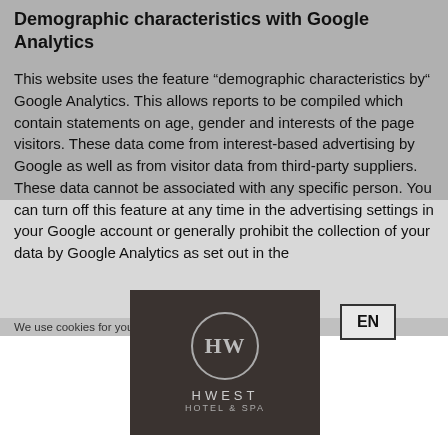HW | BOOK | DE EN | menu
Demographic characteristics with Google Analytics
This website uses the feature “demographic characteristics by“ Google Analytics. This allows reports to be compiled which contain statements on age, gender and interests of the page visitors. These data come from interest-based advertising by Google as well as from visitor data from third-party suppliers. These data cannot be associated with any specific person. You can turn off this feature at any time in the advertising settings in your Google account or generally prohibit the collection of your data by Google Analytics as set out in the section “Objection against data collection”.
[Figure (logo): HWEST hotel logo: monogram HW in circle on dark brown background with brand name HWEST below]
We use cookies for your personalized browsing